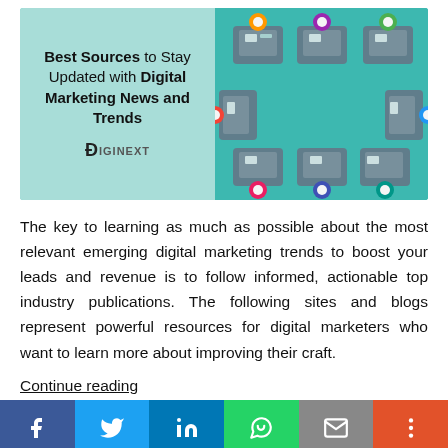[Figure (illustration): Header image for blog post titled 'Best Sources to Stay Updated with Digital Marketing News and Trends' by DigiNext. Left half has teal/mint background with bold title text and DigiNext logo. Right half shows a teal background with an overhead view illustration of multiple people working at separate desks arranged in a circular pattern.]
The key to learning as much as possible about the most relevant emerging digital marketing trends to boost your leads and revenue is to follow informed, actionable top industry publications. The following sites and blogs represent powerful resources for digital marketers who want to learn more about improving their craft.
Continue reading